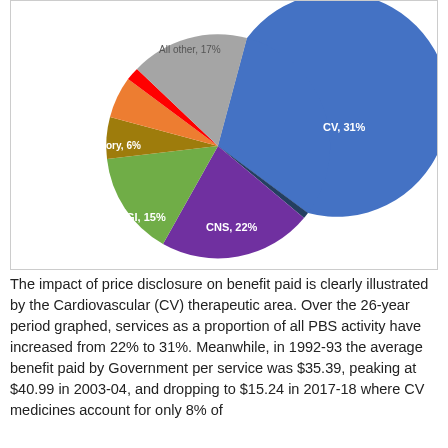[Figure (pie-chart): ]
The impact of price disclosure on benefit paid is clearly illustrated by the Cardiovascular (CV) therapeutic area. Over the 26-year period graphed, services as a proportion of all PBS activity have increased from 22% to 31%. Meanwhile, in 1992-93 the average benefit paid by Government per service was $35.39, peaking at $40.99 in 2003-04, and dropping to $15.24 in 2017-18 where CV medicines account for only 8% of